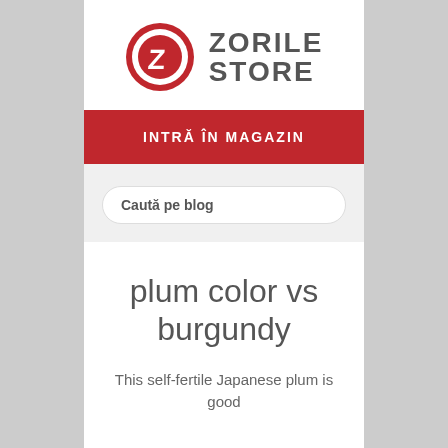[Figure (logo): Zorile Store logo: red circle with Z letter and ZORILE STORE text in grey]
INTRĂ ÎN MAGAZIN
Caută pe blog
plum color vs burgundy
This self-fertile Japanese plum is good